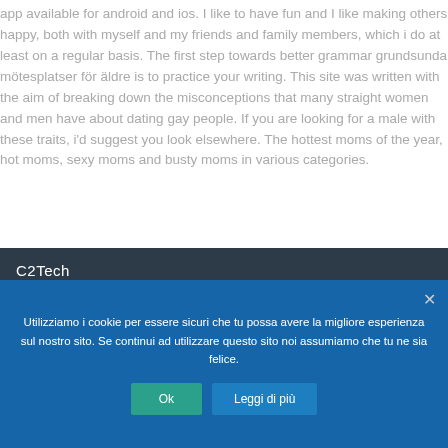app available for android and ios. I like to have fun and I like making others happy, both with myself and my friends and family members, which i do at least on a regular basis. The first step towards better grammar grundsunda mötesplatser för äldre is to practice your writing. This site was written with the aim of breaking down the misconceptions that many straight women and men have about dating gay people. If you are looking for a male with these traits, i'd suggest you look elsewhere. The hottest moms of the year, hot moms, sexy moms and busty moms in various categories.
C2Tech
Utilizziamo i cookie per essere sicuri che tu possa avere la migliore esperienza sul nostro sito. Se continui ad utilizzare questo sito noi assumiamo che tu ne sia felice.